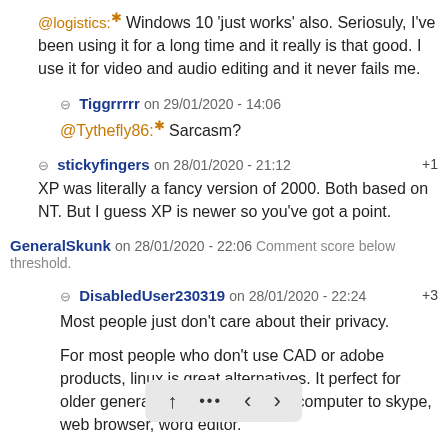@logistics:* Windows 10 'just works' also. Seriosuly, I've been using it for a long time and it really is that good. I use it for video and audio editing and it never fails me.
⊟ Tiggrrrrr on 29/01/2020 - 14:06
@Tythefly86:* Sarcasm?
⊟ stickyfingers on 28/01/2020 - 21:12 +1
XP was literally a fancy version of 2000. Both based on NT. But I guess XP is newer so you've got a point.
GeneralSkunk on 28/01/2020 - 22:06 Comment score below threshold.
⊟ DisabledUser230319 on 28/01/2020 - 22:24 +3
Most people just don't care about their privacy.
For most people who don't use CAD or adobe products, linux is great alternatives. It perfect for older generation who just need a computer to skype, web browser, word editor.
Window 10 Enterprise doesn't even have option to turn turn